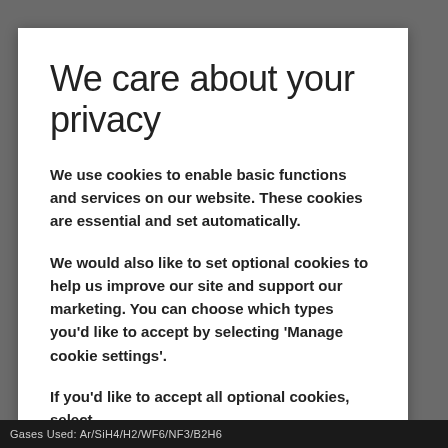We care about your privacy
We use cookies to enable basic functions and services on our website. These cookies are essential and set automatically.
We would also like to set optional cookies to help us improve our site and support our marketing. You can choose which types you'd like to accept by selecting 'Manage cookie settings'.
If you'd like to accept all optional cookies, select
Gases Used: Ar/SiH4/H2/WF6/NF3/B2H6